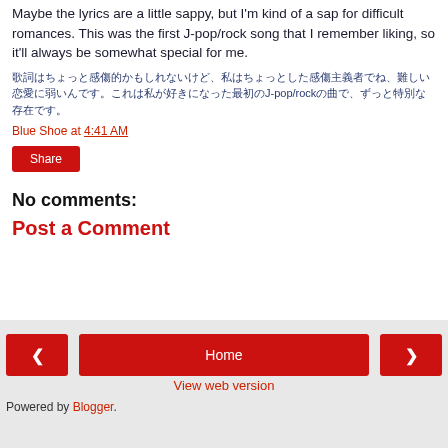Maybe the lyrics are a little sappy, but I'm kind of a sap for difficult romances. This was the first J-pop/rock song that I remember liking, so it'll always be somewhat special for me.
歌詞はちょっと感傷的かもしれないけど、私はちょっとした感傷主義者でね、難しい恋愛に弱いんです。これは私が好きになった最初のJ-pop/rockの曲で、ずっと特別な存在です。
Blue Shoe at 4:41 AM
Share
No comments:
Post a Comment
< Home > View web version Powered by Blogger.